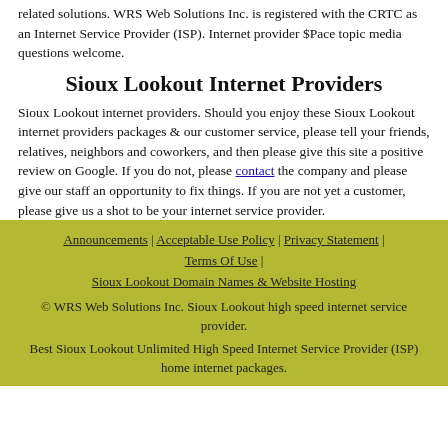related solutions. WRS Web Solutions Inc. is registered with the CRTC as an Internet Service Provider (ISP). Internet provider $Pace topic media questions welcome.
Sioux Lookout Internet Providers
Sioux Lookout internet providers. Should you enjoy these Sioux Lookout internet providers packages & our customer service, please tell your friends, relatives, neighbors and coworkers, and then please give this site a positive review on Google. If you do not, please contact the company and please give our staff an opportunity to fix things. If you are not yet a customer, please give us a shot to be your internet service provider.
Announcements | Acceptable Use Policy | Privacy Statement | Terms Of Use | Sioux Lookout Domain Names & Website Hosting
© WRS Web Solutions Inc. Sioux Lookout high speed internet service provider.
Best Sioux Lookout Unlimited High Speed Internet Service Provider (ISP) home internet packages.